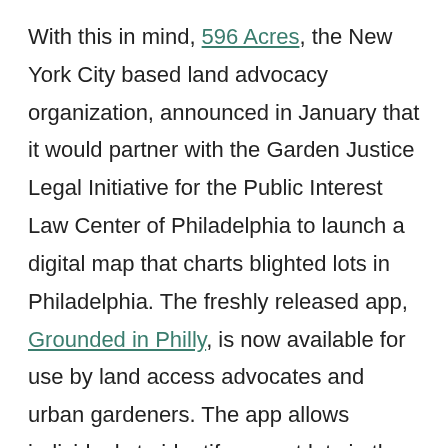With this in mind, 596 Acres, the New York City based land advocacy organization, announced in January that it would partner with the Garden Justice Legal Initiative for the Public Interest Law Center of Philadelphia to launch a digital map that charts blighted lots in Philadelphia. The freshly released app, Grounded in Philly, is now available for use by land access advocates and urban gardeners. The app allows individuals to identify vacant lots in the city, find information related to the lot, and ultimately, smooth the path to gaining access to it.